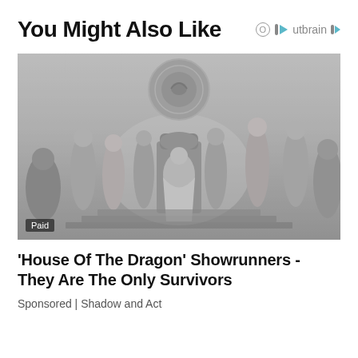You Might Also Like
[Figure (logo): Outbrain logo with circle O and play-button triangle icon]
[Figure (photo): Promotional still from 'House of the Dragon' showing cast members in medieval fantasy costumes posed around an ornate throne, with a dragon emblem on the wall behind them. Desaturated grey-toned image with a 'Paid' badge in the bottom left.]
'House Of The Dragon' Showrunners - They Are The Only Survivors
Sponsored | Shadow and Act